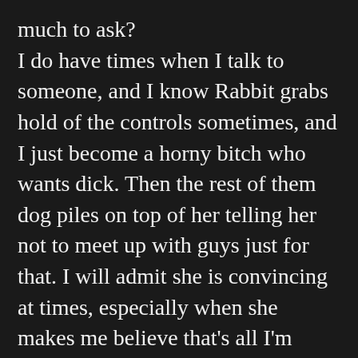much to ask? I do have times when I talk to someone, and I know Rabbit grabs hold of the controls sometimes, and I just become a horny bitch who wants dick. Then the rest of them dog piles on top of her telling her not to meet up with guys just for that. I will admit she is convincing at times, especially when she makes me believe that's all I'm good for. 🙂 At times, she can be such a fucking bitch, but she knows how to make me believe that about myself. 😊🫥😢 An [English] is an introduction to the sides of... ...at I've never told anyone about